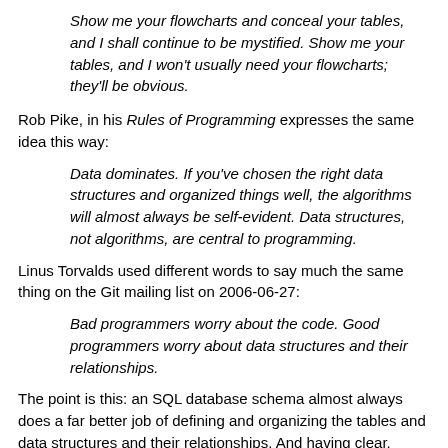Show me your flowcharts and conceal your tables, and I shall continue to be mystified. Show me your tables, and I won't usually need your flowcharts; they'll be obvious.
Rob Pike, in his Rules of Programming expresses the same idea this way:
Data dominates. If you've chosen the right data structures and organized things well, the algorithms will almost always be self-evident. Data structures, not algorithms, are central to programming.
Linus Torvalds used different words to say much the same thing on the Git mailing list on 2006-06-27:
Bad programmers worry about the code. Good programmers worry about data structures and their relationships.
The point is this: an SQL database schema almost always does a far better job of defining and organizing the tables and data structures and their relationships. And having clear, concise, and well-defined representation almost always results in an application